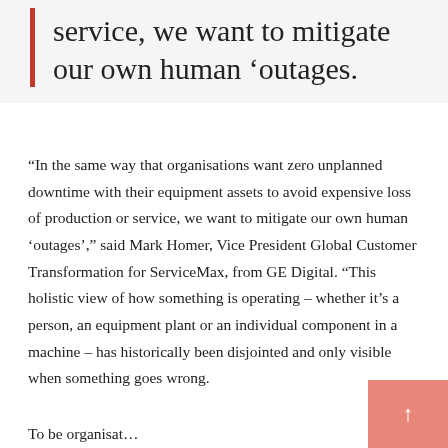service, we want to mitigate our own human 'outages.
“In the same way that organisations want zero unplanned downtime with their equipment assets to avoid expensive loss of production or service, we want to mitigate our own human ‘outages’,” said Mark Homer, Vice President Global Customer Transformation for ServiceMax, from GE Digital. “This holistic view of how something is operating – whether it’s a person, an equipment plant or an individual component in a machine – has historically been disjointed and only visible when something goes wrong.
To be continued...